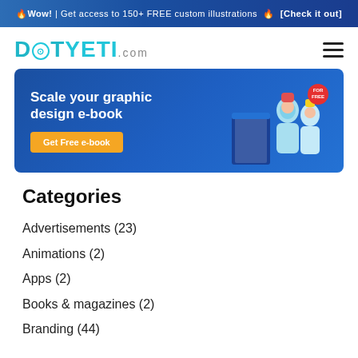🔥 Wow! | Get access to 150+ FREE custom illustrations 🔥 [Check it out]
[Figure (logo): DotYeti.com logo in teal/cyan color with hamburger menu icon on the right]
[Figure (illustration): Advertisement banner: 'Scale your graphic design e-book' with 'Get Free e-book' orange button and illustrated characters on blue background]
Categories
Advertisements (23)
Animations (2)
Apps (2)
Books & magazines (2)
Branding (44)